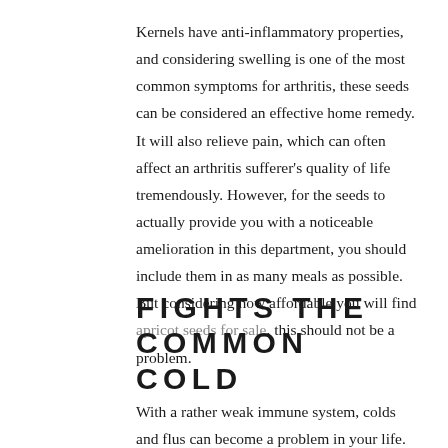Kernels have anti-inflammatory properties, and considering swelling is one of the most common symptoms for arthritis, these seeds can be considered an effective home remedy. It will also relieve pain, which can often affect an arthritis sufferer's quality of life tremendously. However, for the seeds to actually provide you with a noticeable amelioration in this department, you should include them in as many meals as possible. But considering how affordable you will find apricot seeds for sale, this should not be a problem.
FIGHTS THE COMMON COLD
With a rather weak immune system, colds and flus can become a problem in your life. Well, you should know